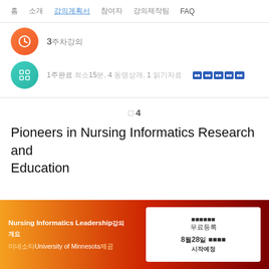홈  소개  강의계획서  참여자  강의제작팀  FAQ
3주차강의
1주완료 최소15분, 4 동영상개, 1 읽기자료
주 4
Pioneers in Nursing Informatics Research and Education
Nursing Informatics Leadership강의 개요
미네소타University of Minnesota제공
무료등록 8월28일 시작예정